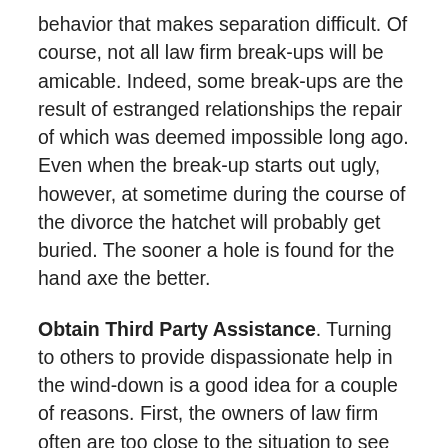behavior that makes separation difficult. Of course, not all law firm break-ups will be amicable. Indeed, some break-ups are the result of estranged relationships the repair of which was deemed impossible long ago. Even when the break-up starts out ugly, however, at sometime during the course of the divorce the hatchet will probably get buried. The sooner a hole is found for the hand axe the better.
Obtain Third Party Assistance. Turning to others to provide dispassionate help in the wind-down is a good idea for a couple of reasons. First, the owners of law firm often are too close to the situation to see the obvious or avoid the ridiculous. Second, the divergent views that precipitated the split up may make interested partners less than trusting when wind-up decisions are proposed by another.